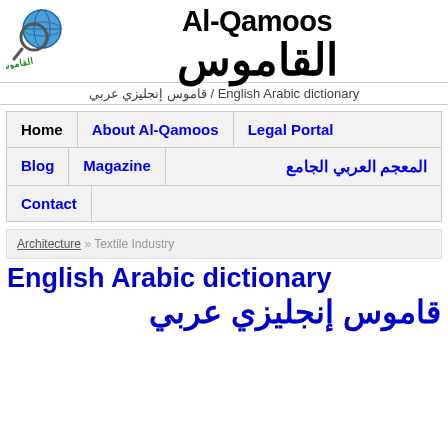[Figure (logo): Al-Qamoos logo with globe and magnifying glass, Arabic text القاموس in green]
Al-Qamoos
القاموس
English Arabic dictionary / قاموس إنجليزي عربي
| Home | About Al-Qamoos | Legal Portal |
| Blog | Magazine | المعجم العربي الجامع |
| Contact |  |  |
Architecture » Textile Industry
English Arabic dictionary
قاموس إنجليزي عربي